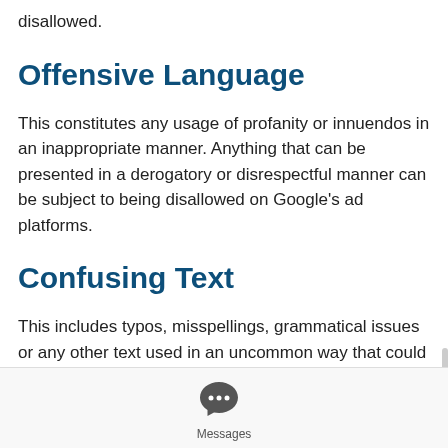disallowed.
Offensive Language
This constitutes any usage of profanity or innuendos in an inappropriate manner. Anything that can be presented in a derogatory or disrespectful manner can be subject to being disallowed on Google's ad platforms.
Confusing Text
This includes typos, misspellings, grammatical issues or any other text used in an uncommon way that could confuse the average visitor. In short, well written and
[Figure (illustration): Messages app icon: speech bubble with three dots inside, with label 'Messages' below]